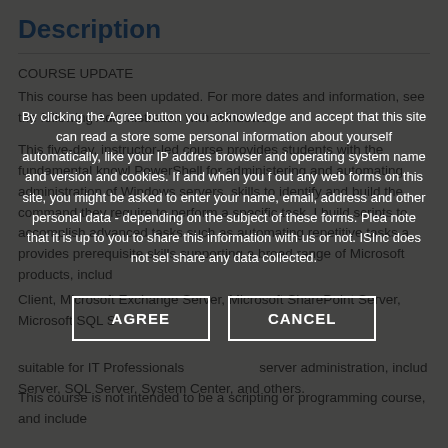Description
COURSE UPDATE
This course has been updated. For more dates and information, see the following Administration with Windows
This five-day, instructor-led course provides students with the fundamental knowledge of PowerShell for administering and automating administration of Windows servers. skills to identify and build the command they require to perform a specific task. In build scripts to accomplish advanced tasks such as automating repetitive tasks a provides prerequisite skills supporting a broad range of Microsoft products, includ Client, Microsoft Exchange Server, Microsoft SharePoint Server, Microsoft SQL S
suitable for IT Professionals server administration, includ Server, SQL Server, System Center, and others.
This course is not intended to be a scripting or programming course, and include
By clicking the Agree button you acknowledge and accept that this site can read a store some personal information about yourself automatically, like your IP addres browser and operating system name and version and cookies. If and when you f out any web forms on this site, you might be asked to enter your name, email, address and other personal data - depending on the subject of these forms. Plea note that it is up to you to share this information with us or not. ISInc does not sel share any data collected.